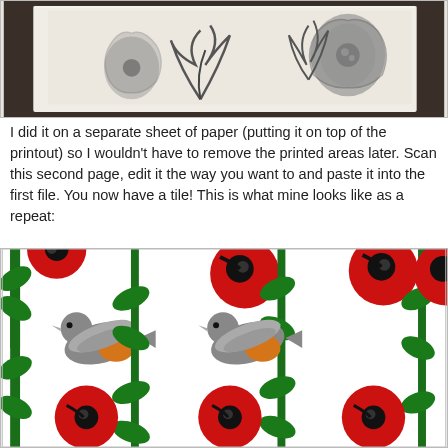[Figure (photo): Photo of hand-drawn sketches on paper showing poppy flowers and leaves in black ink, with papers layered on a dark surface]
I did it on a separate sheet of paper (putting it on top of the printout) so I wouldn't have to remove the printed areas later. Scan this second page, edit it the way you want to and paste it into the first file. You now have a tile! This is what mine looks like as a repeat:
[Figure (illustration): Repeating tile pattern showing red poppy flowers with green leaves and a robin bird with orange breast against a white background, tiled multiple times horizontally and vertically]